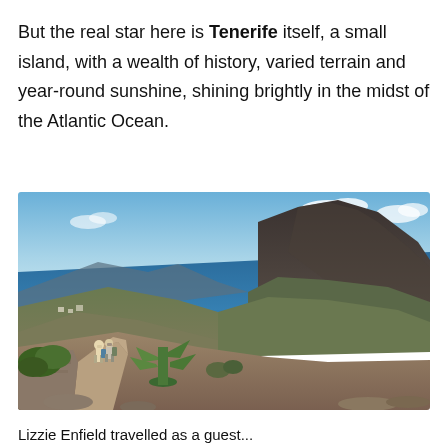But the real star here is Tenerife itself, a small island, with a wealth of history, varied terrain and year-round sunshine, shining brightly in the midst of the Atlantic Ocean.
[Figure (photo): Two hikers walking along a rocky trail on a hillside in Tenerife, with dramatic volcanic mountains on the right, green vegetation including cacti and banana plants in the foreground, and a deep blue Atlantic Ocean visible in the background under a partly cloudy sky.]
Lizzie Enfield travelled as a guest...